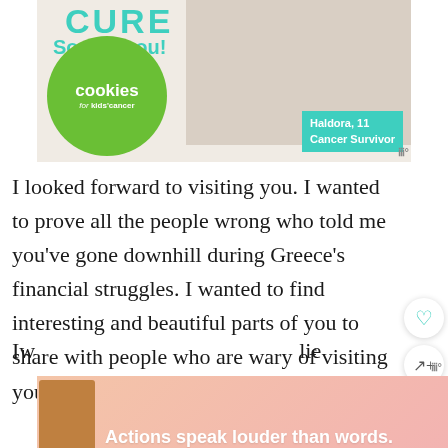[Figure (photo): Advertisement banner for 'Cookies for Kids Cancer' charity. Shows partial text 'CURE / So can you!' in teal, a green circle logo with 'cookies for kids cancer' text, a girl holding cookies/pancakes, and a teal box reading 'Haldora, 11 Cancer Survivor'.]
I looked forward to visiting you. I wanted to prove all the people wrong who told me you've gone downhill during Greece's financial struggles. I wanted to find interesting and beautiful parts of you to share with people who are wary of visiting you these days.
[Figure (screenshot): 'What's Next' widget showing a thumbnail of a flower field and text 'Why I'm Not Afraid to...']
[Figure (photo): Bottom advertisement banner with pink gradient background, showing a person and text 'Actions speak louder than words.']